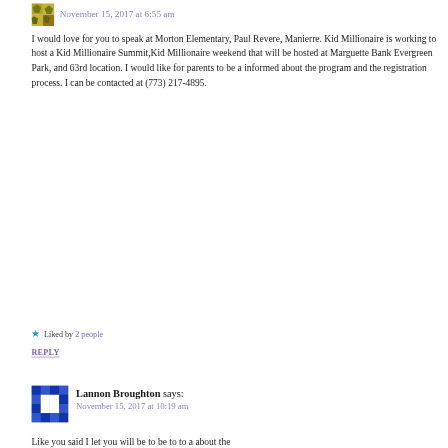November 15, 2017 at 6:55 am
I would love for you to speak at Morton Elementary, Paul Revere, Manierre. Kid Millionaire is working to host a Kid Millionaire Summit,Kid Millionaire weekend that will be hosted at Marguette Bank Evergreen Park, and 63rd location. I would like for parents to be a informed about the program and the registration process. I can be contacted at (773) 217-4895.
★ Liked by 2 people
REPLY
Lannon Broughton says:
November 15, 2017 at 10:19 am
Like you said I let you will be to be to to a about the